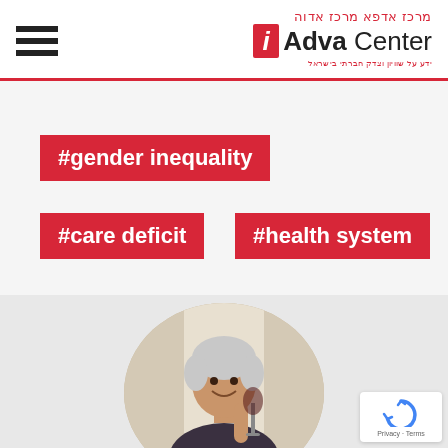Adva Center - מרכז אדווה
#gender inequality
#care deficit
#health system
[Figure (photo): Circular cropped photo of an older woman with white/grey hair holding a wine glass, smiling]
Privacy · Terms